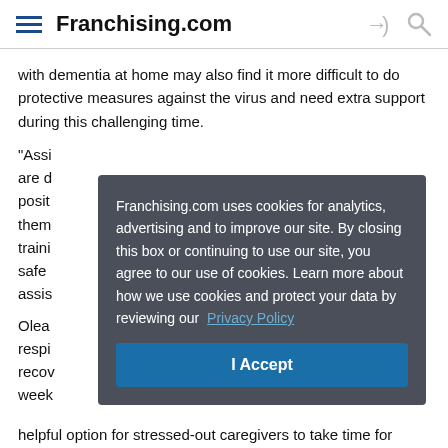Franchising.com
with dementia at home may also find it more difficult to do protective measures against the virus and need extra support during this challenging time.
“Assi... are d... posit... them... traini... safe... assis...
Olea... respi... recov... week...
helpful option for stressed-out caregivers to take time for
[Figure (screenshot): Cookie consent modal overlay with dark gray background. Text reads: 'Franchising.com uses cookies for analytics, advertising and to improve our site. By closing this box or continuing to use our site, you agree to our use of cookies. Learn more about how we use cookies and protect your data by reviewing our Privacy Policy'. Blue 'I Accept' button below.]